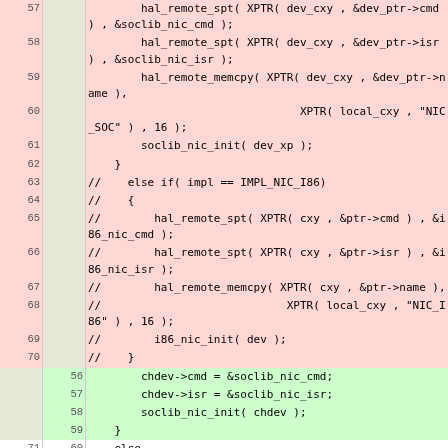| old_ln | new_ln | code |
| --- | --- | --- |
| 57 |  |     hal_remote_spt( XPTR( dev_cxy , &dev_ptr->cmd ) , &soclib_nic_cmd ); |
| 58 |  |     hal_remote_spt( XPTR( dev_cxy , &dev_ptr->isr ) , &soclib_nic_isr ); |
| 59 |  |     hal_remote_memcpy( XPTR( dev_cxy , &dev_ptr->name ), |
| 60 |  |                         XPTR( local_cxy , "NIC_SOC" ) , 16 ); |
| 61 |  |     soclib_nic_init( dev_xp ); |
| 62 |  |     } |
| 63 |  | // else if( impl == IMPL_NIC_I86) |
| 64 |  | //    { |
| 65 |  | //        hal_remote_spt( XPTR( cxy , &ptr->cmd ) , &i86_nic_cmd ); |
| 66 |  | //        hal_remote_spt( XPTR( cxy , &ptr->isr ) , &i86_nic_isr ); |
| 67 |  | //        hal_remote_memcpy( XPTR( cxy , &ptr->name ), |
| 68 |  | //                            XPTR( local_cxy , "NIC_I86" ) , 16 ); |
| 69 |  | //        i86_nic_init( dev ); |
| 70 |  | //    } |
|  | 56 |     chdev->cmd = &soclib_nic_cmd; |
|  | 57 |     chdev->isr = &soclib_nic_isr; |
|  | 58 |     soclib_nic_init( chdev ); |
|  | 59 |     } |
| 71 | 60 |     else |
| 72 | 61 |     { |
| 73 |  |         printk("\n[PANIC] in %s : undefined NIC device implementation\n", __FUNCTION__ ); |
| 74 |  |     hal_core_sleep(); |
| 75 |  |     } |
| 76 |  |  |
| 77 |  |     // got a free WTI mailbox for this NIC device |